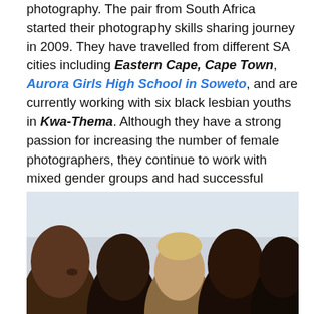photography. The pair from South Africa started their photography skills sharing journey in 2009. They have travelled from different SA cities including Eastern Cape, Cape Town, Aurora Girls High School in Soweto, and are currently working with six black lesbian youths in Kwa-Thema. Although they have a strong passion for increasing the number of female photographers, they continue to work with mixed gender groups and had successful trainings in Cotonou and Porto Novo in Benin and another training in Cagliari, Italy in 2015.
[Figure (photo): Group photo of several people viewed from the side/profile, showing a diverse group of individuals with different skin tones and hair types, against a light background.]